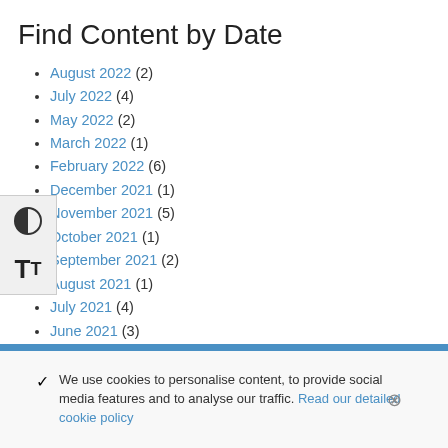Find Content by Date
August 2022 (2)
July 2022 (4)
May 2022 (2)
March 2022 (1)
February 2022 (6)
December 2021 (1)
November 2021 (5)
October 2021 (1)
September 2021 (2)
August 2021 (1)
July 2021 (4)
June 2021 (3)
May 2021 (4)
April 2021 (4)
March 2021 (2)
February 2021 (2)
We use cookies to personalise content, to provide social media features and to analyse our traffic. Read our detailed cookie policy